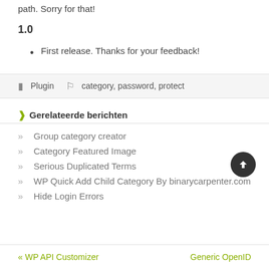path. Sorry for that!
1.0
First release. Thanks for your feedback!
Plugin   category, password, protect
Gerelateerde berichten
Group category creator
Category Featured Image
Serious Duplicated Terms
WP Quick Add Child Category By binarycarpenter.com
Hide Login Errors
« WP API Customizer   Generic OpenID